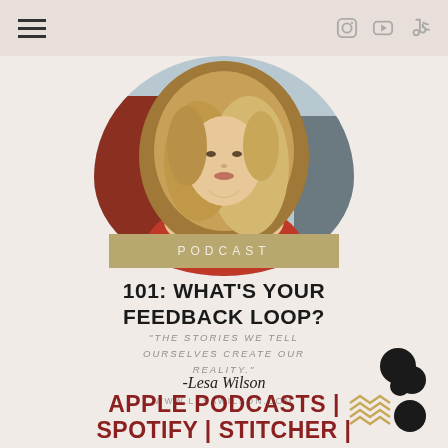navigation header with hamburger menu and social icons
[Figure (photo): Circular cropped portrait photo of a woman with long blonde highlighted hair, wearing a red top, photographed outdoors]
PODCAST
101: WHAT'S YOUR FEEDBACK LOOP?
"THE STORIES WE TELL OURSELVES CREATE OUR REALITY."
-Lesa Wilson
WWW.LESAWILSON.COM
APPLE PODCASTS | SPOTIFY | STITCHER |